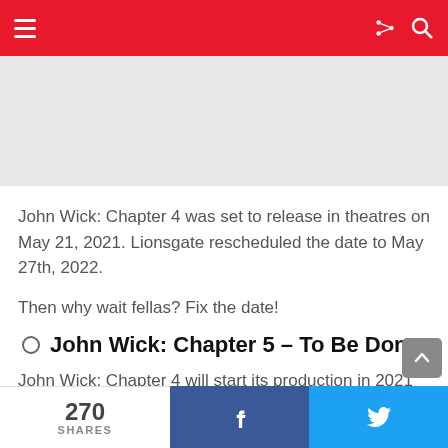Navigation header with hamburger menu and search/share icons
[Figure (other): Advertisement or image placeholder area (gray background)]
John Wick: Chapter 4 was set to release in theatres on May 21, 2021. Lionsgate rescheduled the date to May 27th, 2022.
Then why wait fellas? Fix the date!
John Wick: Chapter 5 – To Be Done
John Wick: Chapter 4 will start its production in 2021
270 SHARES  [Facebook share]  [Twitter share]